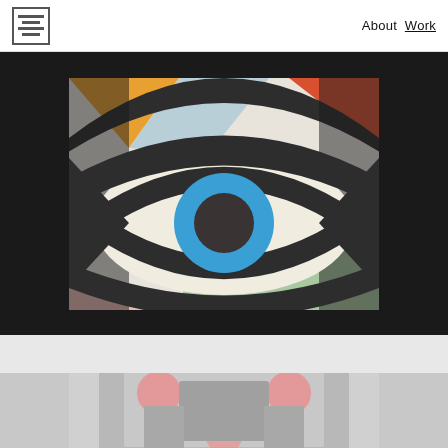About Work
[Figure (illustration): Abstract geometric eye illustration on black background. A large stylized eye with white sclera, blue iris, and dark pupil centered on a rectangular canvas with colorful geometric background shapes including orange, light blue, red-orange, green, and pink triangles/rectangles. The eye motif is outlined in thick black strokes.]
[Figure (illustration): Partially visible abstract geometric illustration in muted colors on light gray background. Features pink circles, gray rectangles, and geometric shapes suggesting a face or abstract figure composition.]